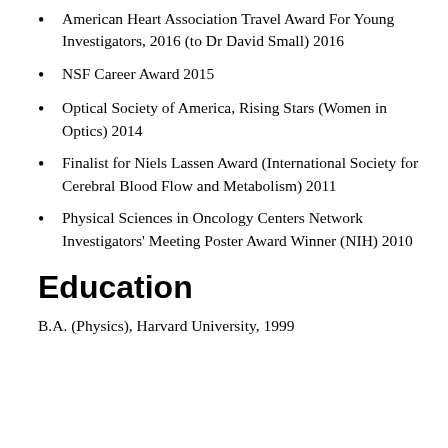American Heart Association Travel Award For Young Investigators, 2016 (to Dr David Small) 2016
NSF Career Award 2015
Optical Society of America, Rising Stars (Women in Optics) 2014
Finalist for Niels Lassen Award (International Society for Cerebral Blood Flow and Metabolism) 2011
Physical Sciences in Oncology Centers Network Investigators’ Meeting Poster Award Winner (NIH) 2010
Education
B.A. (Physics), Harvard University, 1999